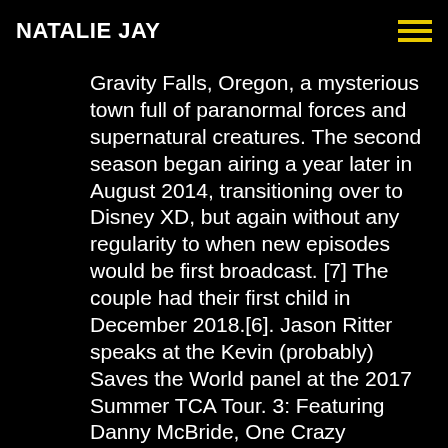NATALIE JAY
Gravity Falls, Oregon, a mysterious town full of paranormal forces and supernatural creatures. The second season began airing a year later in August 2014, transitioning over to Disney XD, but again without any regularity to when new episodes would be first broadcast. [7] The couple had their first child in December 2018.[6]. Jason Ritter speaks at the Kevin (probably) Saves the World panel at the 2017 Summer TCA Tour. 3: Featuring Danny McBride, One Crazy Summer: A Look Back at Gravity Falls, The Call of the Wild/Emma./Hunters/Frozen II...